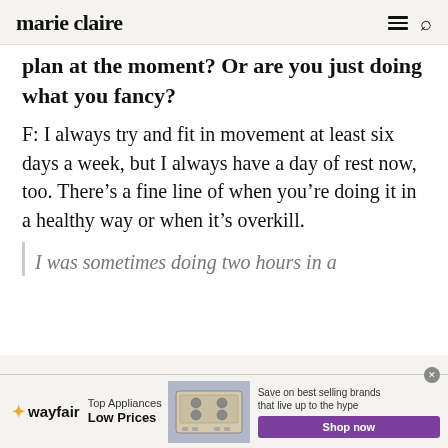marie claire
plan at the moment? Or are you just doing what you fancy?
F: I always try and fit in movement at least six days a week, but I always have a day of rest now, too. There’s a fine line of when you’re doing it in a healthy way or when it’s overkill.
I was sometimes doing two hours in a
[Figure (advertisement): Wayfair advertisement banner: Top Appliances Low Prices, with stove image and Shop now button]